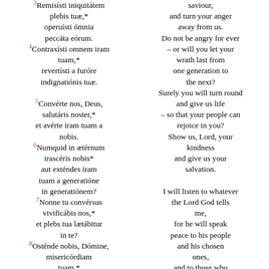3Remisísti iniquitátem plebis tuæ,* operuísti ómnia peccáta eórum. 4Contraxísti omnem iram tuam,* revertísti a furóre indignatiónis tuæ. 5Convérte nos, Deus, salutáris noster,* et avérte iram tuam a nobis. 6Numquid in ætérnum irascéris nobis* aut exténdes iram tuam a generatióne in generatiónem? 7Nonne tu convérsus vivificábis nos,* et plebs tua lætábitur in te? 8Osténde nobis, Dómine, misericórdiam tuam,*
saviour, and turn your anger away from us. Do not be angry for ever – or will you let your wrath last from one generation to the next? Surely you will turn round and give us life – so that your people can rejoice in you? Show us, Lord, your kindness and give us your salvation. I will listen to whatever the Lord God tells me, for he will speak peace to his people and his chosen ones, and to those who